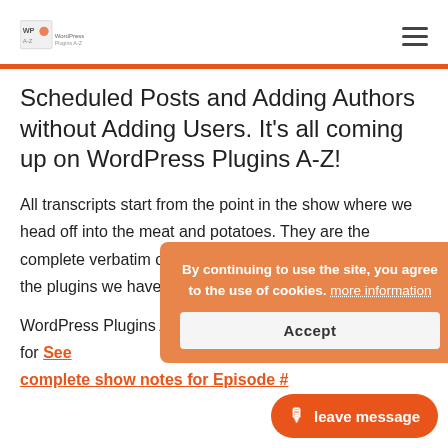[WP Plugins A-Z logo] [hamburger menu]
Scheduled Posts and Adding Authors without Adding Users. It's all coming up on WordPress Plugins A-Z!
All transcripts start from the point in the show where we head off into the meat and potatoes. They are the complete verbatim of Marcus and John's discussion of the plugins we have reviewed.
WordPress A to Z Podcast transcript for See complete show notes for Episode #
By continuing to use the site, you agree to the use of cookies. more information
Accept
leave message